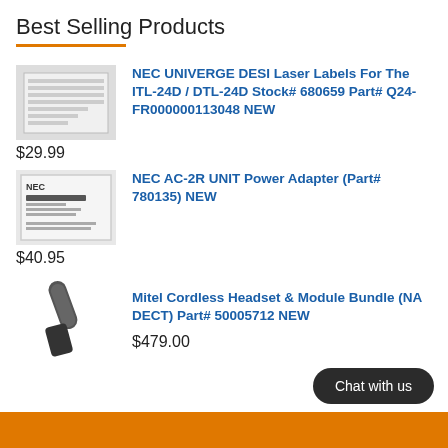Best Selling Products
[Figure (photo): NEC UNIVERGE DESI laser label sheets product photo]
NEC UNIVERGE DESI Laser Labels For The ITL-24D / DTL-24D Stock# 680659 Part# Q24-FR000000113048 NEW
$29.99
[Figure (photo): NEC AC-2R UNIT Power Adapter box product photo]
NEC AC-2R UNIT Power Adapter (Part# 780135) NEW
$40.95
[Figure (photo): Mitel Cordless Headset product photo]
Mitel Cordless Headset & Module Bundle (NA DECT) Part# 50005712 NEW
$479.00
Chat with us